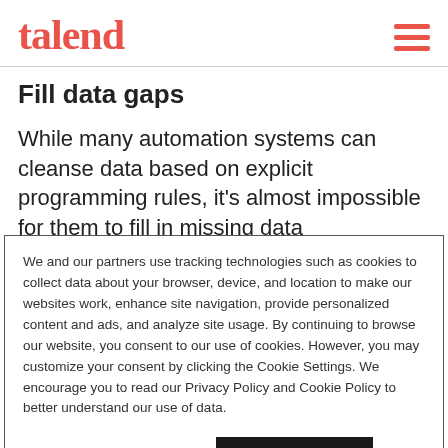talend
Fill data gaps
While many automation systems can cleanse data based on explicit programming rules, it's almost impossible for them to fill in missing data
We and our partners use tracking technologies such as cookies to collect data about your browser, device, and location to make our websites work, enhance site navigation, provide personalized content and ads, and analyze site usage. By continuing to browse our website, you consent to our use of cookies. However, you may customize your consent by clicking the Cookie Settings. We encourage you to read our Privacy Policy and Cookie Policy to better understand our use of data.
Cookie Settings | Accept Cookies